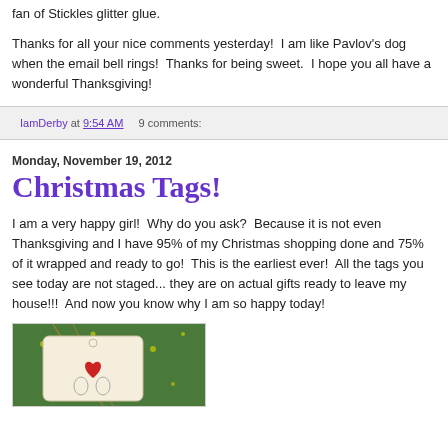fan of Stickles glitter glue.
Thanks for all your nice comments yesterday!  I am like Pavlov's dog when the email bell rings!  Thanks for being sweet.  I hope you all have a wonderful Thanksgiving!
IamDerby at 9:54 AM     9 comments:
Monday, November 19, 2012
Christmas Tags!
I am a very happy girl!  Why do you ask?  Because it is not even Thanksgiving and I have 95% of my Christmas shopping done and 75% of it wrapped and ready to go!  This is the earliest ever!  All the tags you see today are not staged... they are on actual gifts ready to leave my house!!!  And now you know why I am so happy today!
[Figure (photo): Photo of Christmas gift tags on a green background with stars, showing ornamental tags with a heart design tied with twine/cord]